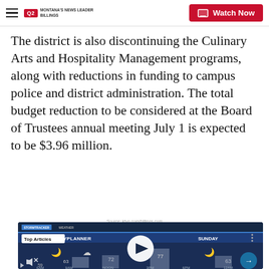Q2 MONTANA'S NEWS LEADER BILLINGS | Watch Now
The district is also discontinuing the Culinary Arts and Hospitality Management programs, along with reductions in funding to campus police and district administration. The total budget reduction to be considered at the Board of Trustees annual meeting July 1 is expected to be $3.96 million.
Source: ktvq.com/billings.com
[Figure (screenshot): Video thumbnail showing a weatherman presenting the Billings Dayplanner weather forecast for Sunday, with temperatures: 59 at 6AM, 63 at 9AM, 72 at noon, 77 at 3PM, 63 at 12AM. A white play button circle is centered. A 'Top Articles' badge is in upper left. An arrow navigation button is in lower right.]